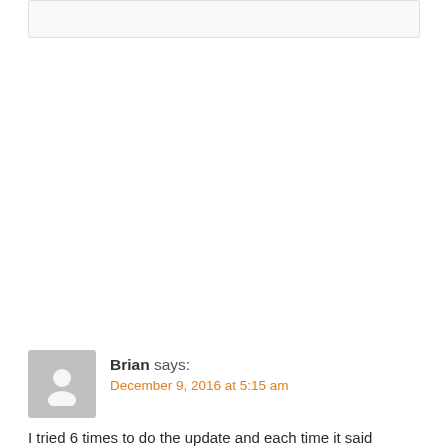Brian says: December 9, 2016 at 5:15 am
I tried 6 times to do the update and each time it said installing, it failed. This is in the newest model of the fire tv. It appeared to install but never would. I pulled power, tried again and it worked. No issues since. No other devices have gotten it yet.